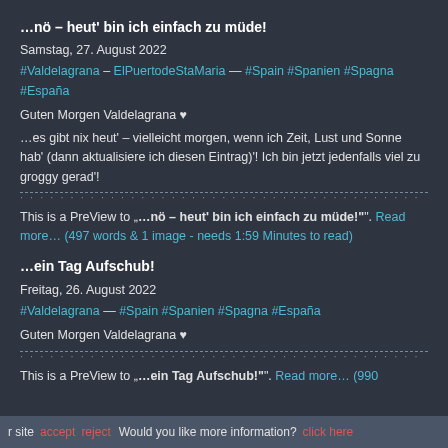…nö – heut' bin ich einfach zu müde!
Samstag, 27. August 2022
#Valdelagrana – ElPuertodeStaMaria — #Spain #Spanien #Spagna #España
Guten Morgen Valdelagrana ♥
…es gibt nix heut' – vielleicht morgen, wenn ich Zeit, Lust und Sonne hab' (dann aktualisiere ich diesen Eintrag)'! Ich bin jetzt jedenfalls viel zu groggy gerad'!
This is a PreView to „"...nö – heut' bin ich einfach zu müde!"". Read more... (497 words & 1 image - needs 1:59 Minutes to read)
…ein Tag Aufschub!
Freitag, 26. August 2022
#Valdelagrana — #Spain #Spanien #Spagna #España
Guten Morgen Valdelagrana ♥
This is a PreView to „"...ein Tag Aufschub!"". Read more... (990
r site   accept   reject   Would you like more information?   click here